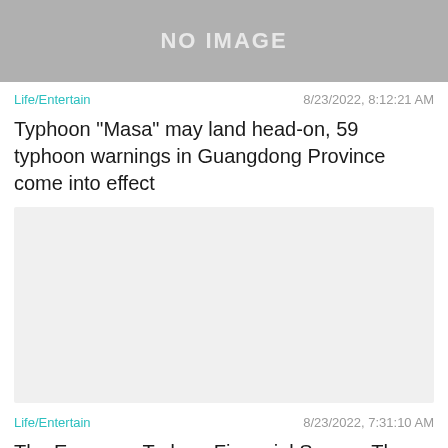[Figure (other): Gray placeholder image with text NO IMAGE]
Life/Entertain
8/23/2022, 8:12:21 AM
Typhoon "Masa" may land head-on, 59 typhoon warnings in Guangdong Province come into effect
[Figure (other): Light gray placeholder image for second article]
Life/Entertain
8/23/2022, 7:31:10 AM
The Economy Today - Financial Scams: The